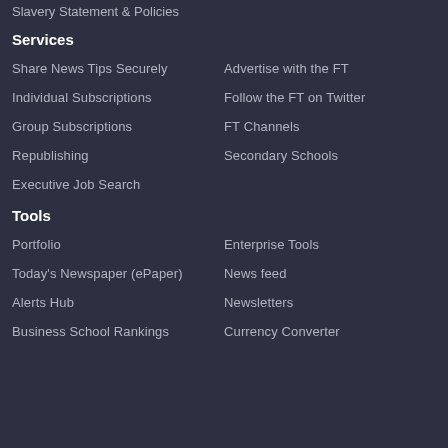Slavery Statement & Policies
Services
Share News Tips Securely
Advertise with the FT
Individual Subscriptions
Follow the FT on Twitter
Group Subscriptions
FT Channels
Republishing
Secondary Schools
Executive Job Search
Tools
Portfolio
Enterprise Tools
Today's Newspaper (ePaper)
News feed
Alerts Hub
Newsletters
Business School Rankings
Currency Converter